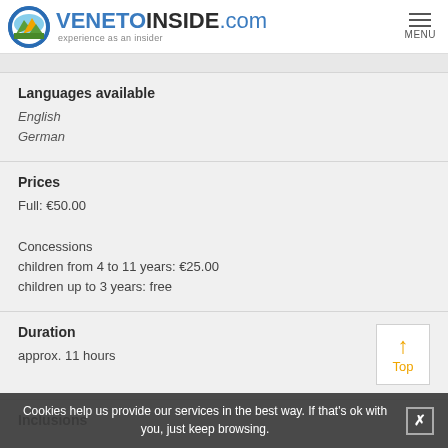[Figure (logo): VenetoInside.com logo with circular mountain/landscape icon and tagline 'experience as an insider']
Languages available
English
German
Prices
Full: €50.00

Concessions
children from 4 to 11 years: €25.00
children up to 3 years: free
Duration
approx. 11 hours
Inclusions
Cookies help us provide our services in the best way. If that's ok with you, just keep browsing.